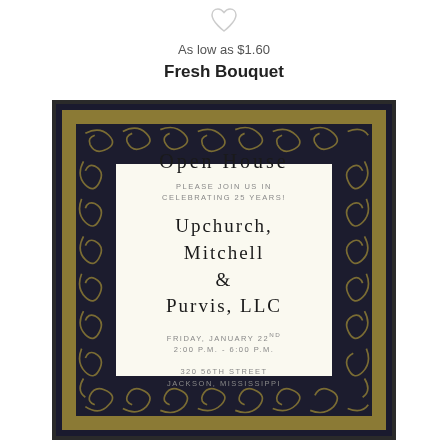[Figure (illustration): Heart/favorite icon (outline heart shape) at top center]
As low as $1.60
Fresh Bouquet
[Figure (illustration): Open House invitation card with black and gold decorative swirl border. White inner area with text: OPEN HOUSE / PLEASE JOIN US IN CELEBRATING 25 YEARS! / Upchurch, Mitchell & Purvis, LLC / FRIDAY, JANUARY 22ND / 2:00 P.M. - 6:00 P.M. / 320 56TH STREET / JACKSON, MISSISSIPPI]